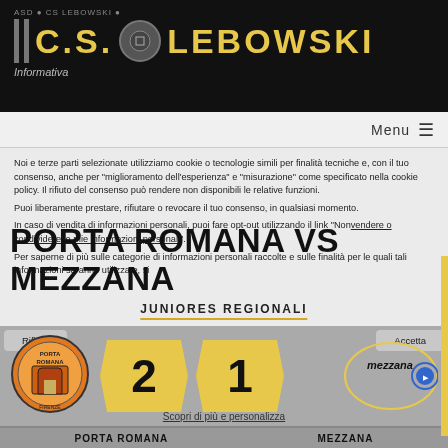C.S. LEBOWSKI — Informativa
Menu
Noi e terze parti selezionate utilizziamo cookie o tecnologie simili per finalità tecniche e, con il tuo consenso, anche per "miglioramento dell'esperienza" e "misurazione" come specificato nella cookie policy. Il rifiuto del consenso può rendere non disponibili le relative funzioni.
Puoi liberamente prestare, rifiutare o revocare il tuo consenso, in qualsiasi momento.
In caso di vendita di informazioni personali, puoi fare opt-out utilizzando il link "Non vendere o condividere le mie informazioni personali".
Per saperne di più sulle categorie di informazioni personali raccolte e sulle finalità per le quali tali informazioni saranno utilizzate, si
PORTA ROMANA VS MEZZANA
JUNIORES REGIONALI
[Figure (infographic): Match score display: Porta Romana logo on left, score 2-1 in golden hexagon shapes, Mezzana logo on right. Rifiuta and Accetta buttons visible. 'Scopri di più e personalizza' link.]
PORTA ROMANA   MEZZANA